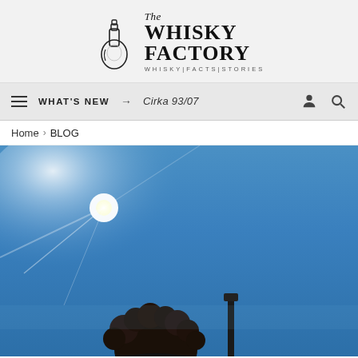[Figure (logo): The Whisky Factory logo with bottle illustration and tagline WHISKY|FACTS|STORIES]
WHAT'S NEW → Cirka 93/07
Home > BLOG
[Figure (photo): Outdoor photo showing blue sky with sun glare and a silhouetted figure with curly hair and a dark post/structure, shot from a low angle looking up]